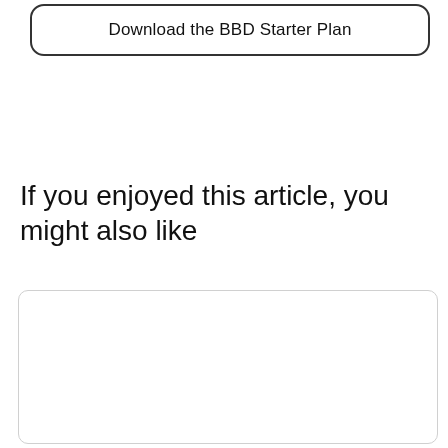Download the BBD Starter Plan
If you enjoyed this article, you might also like
[Figure (other): Empty card/image placeholder box with rounded corners and light border]